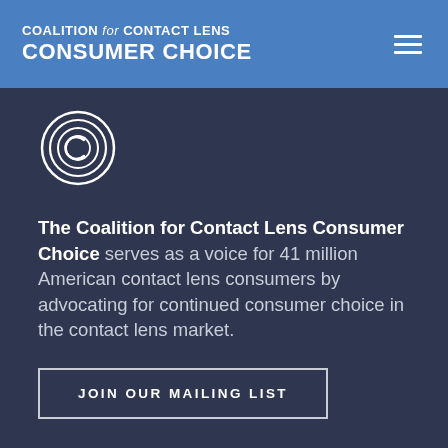COALITION for CONTACT LENS CONSUMER CHOICE
[Figure (logo): Coalition for Contact Lens Consumer Choice circular spiral logo in white]
The Coalition for Contact Lens Consumer Choice serves as a voice for 41 million American contact lens consumers by advocating for continued consumer choice in the contact lens market.
JOIN OUR MAILING LIST